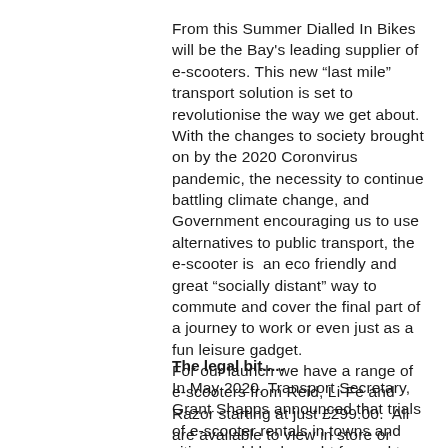From this Summer Dialled In Bikes will be the Bay's leading supplier of e-scooters. This new “last mile” transport solution is set to revolutionise the way we get about. With the changes to society brought on by the 2020 Coronvirus pandemic, the necessity to continue battling climate change, and Government encouraging us to use alternatives to public transport, the e-scooter is  an eco friendly and great “socially distant” way to commute and cover the final part of a journey to work or even just as a fun leisure gadget. For our launch we have a range of e-scooters from Reid, Li-Fe and Razor starting at just £299.00.  All are available to view in store or purchase online.
The legal bit.....
In May 2020, Transport Secretary, Grant Shapps announced that trials of e-scooter rentals in towns and cities would be brought forward to take place in June this